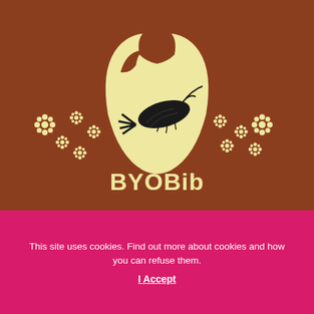[Figure (logo): BYOBib restaurant logo on brown background: a baby bib shape in cream/yellow with a shrimp illustration in black, surrounded by decorative daisy/snowflake motifs in cream, with the text 'BYOBib' in bold yellow lettering below]
This site uses cookies. Find out more about cookies and how you can refuse them.
I Accept